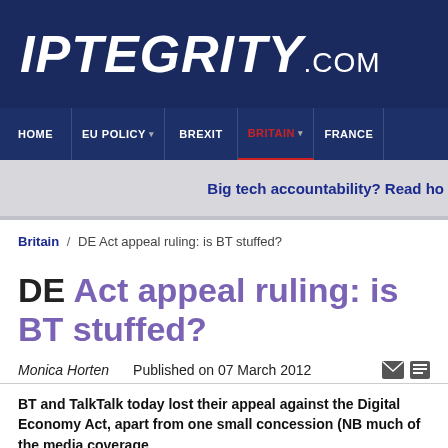[Figure (logo): IPTEGRITY.COM logo in white italic text on dark navy background]
HOME | EU POLICY | BREXIT | BRITAIN | FRANCE
Big tech accountability? Read ho
Britain / DE Act appeal ruling: is BT stuffed?
DE Act appeal ruling: is BT stuffed?
Monica Horten   Published on 07 March 2012
BT and TalkTalk today lost their appeal against the Digital Economy Act, apart from one small concession (NB much of the media coverage